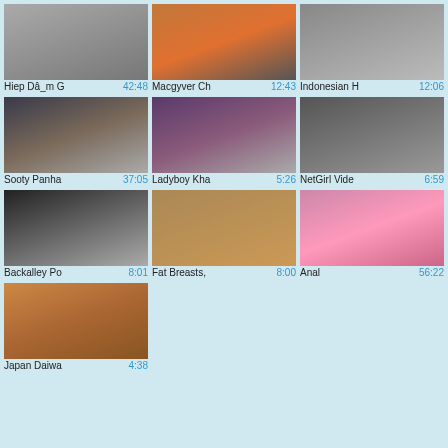[Figure (screenshot): Video thumbnail grid showing adult video listings with titles and durations]
Hiep Dâ_m G  42:48
Macgyver Ch  12:43
Indonesian H  12:06
Sooty Panha  37:05
Ladyboy Kha  5:26
NetGirl Vide  6:59
Backalley Po  8:01
Fat Breasts,  8:00
Anal  56:22
Japan Daiwa  4:38